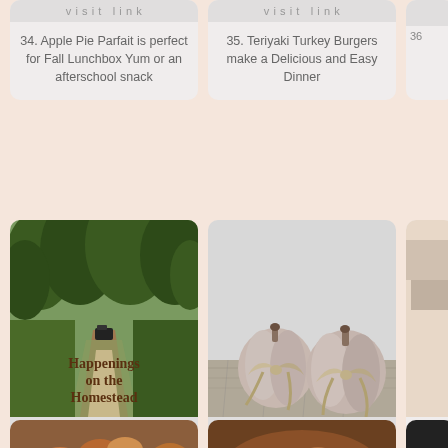visit link
34. Apple Pie Parfait is perfect for Fall Lunchbox Yum or an afterschool snack
visit link
35. Teriyaki Turkey Burgers make a Delicious and Easy Dinner
[Figure (photo): Forest path with green trees - Happenings on the Homestead]
visit link
37. Happenings on the Homestead #84
[Figure (photo): Two light pink/beige pumpkins with burlap ribbon bows on a wooden surface]
visit link
38. Upcycled Dollar Store Pumpkins for Autumn Decor - Eccentricities by JVG
[Figure (photo): Food photo - roasted vegetables/potatoes]
[Figure (photo): Food photo - soup or stew in a pot]